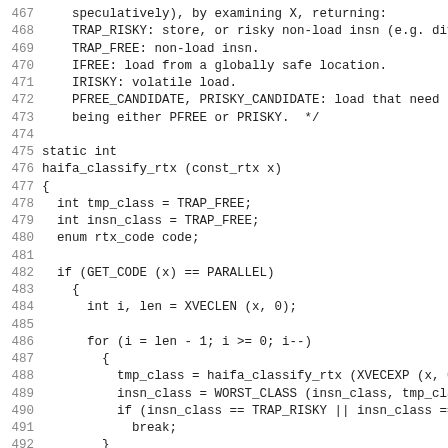[Figure (other): Source code listing lines 467-498 of a C function haifa_classify_rtx, showing variable declarations, conditional logic with GET_CODE, for loop, and switch statement.]